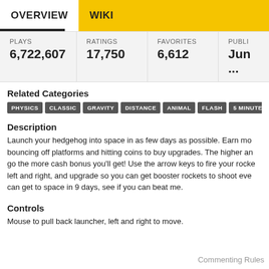OVERVIEW   WIKI
| PLAYS | RATINGS | FAVORITES | PUBLI... |
| --- | --- | --- | --- |
| 6,722,607 | 17,750 | 6,612 | Jun ... |
Related Categories
PHYSICS
CLASSIC
GRAVITY
DISTANCE
ANIMAL
FLASH
5 MINUTE
TR...
Description
Launch your hedgehog into space in as few days as possible. Earn mo... bouncing off platforms and hitting coins to buy upgrades. The higher an... go the more cash bonus you'll get! Use the arrow keys to fire your rocke... left and right, and upgrade so you can get booster rockets to shoot eve... can get to space in 9 days, see if you can beat me.
Controls
Mouse to pull back launcher, left and right to move.
Commenting Rules